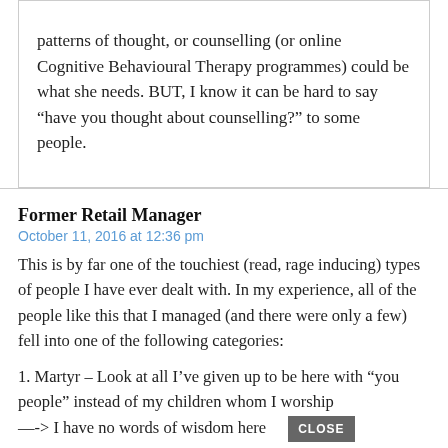patterns of thought, or counselling (or online Cognitive Behavioural Therapy programmes) could be what she needs. BUT, I know it can be hard to say “have you thought about counselling?” to some people.
Former Retail Manager
October 11, 2016 at 12:36 pm
This is by far one of the touchiest (read, rage inducing) types of people I have ever dealt with. In my experience, all of the people like this that I managed (and there were only a few) fell into one of the following categories:
1. Martyr – Look at all I’ve given up to be here with “you people” instead of my children whom I worship
—-> I have no words of wisdom here
2. Tone Deaf Transition Challenged Individual – These types seem to have been out of the workforce for so long